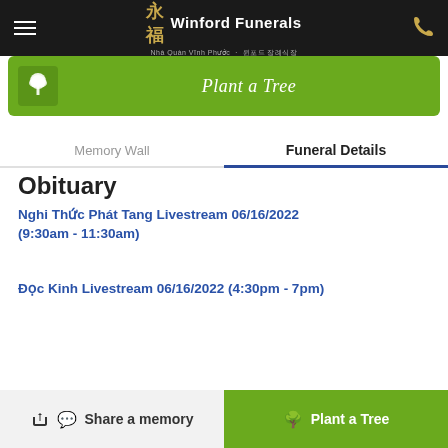Winford Funerals | Nhà Quàn Vĩnh Phước · 윈포드 장례식장
[Figure (other): Green Plant a Tree banner with tree icon]
Memory Wall | Funeral Details
Obituary
Nghi Thức Phát Tang Livestream 06/16/2022 (9:30am - 11:30am)
Đọc Kinh Livestream 06/16/2022 (4:30pm - 7pm)
Share a memory | Plant a Tree